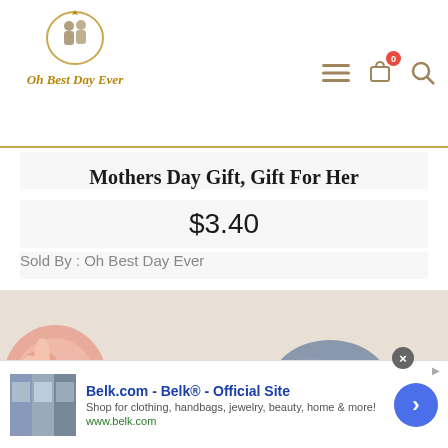[Figure (logo): Oh Best Day Ever logo with couple silhouette in a circular frame and golden italic text]
Mothers Day Gift, Gift For Her
$3.40
Sold By : Oh Best Day Ever
[Figure (photo): Product photo showing scrunchies on a light textured surface — peach/pink scrunchie on the left side and a grey scrunchie on the right]
Belk.com - Belk® - Official Site
Shop for clothing, handbags, jewelry, beauty, home & more!
www.belk.com